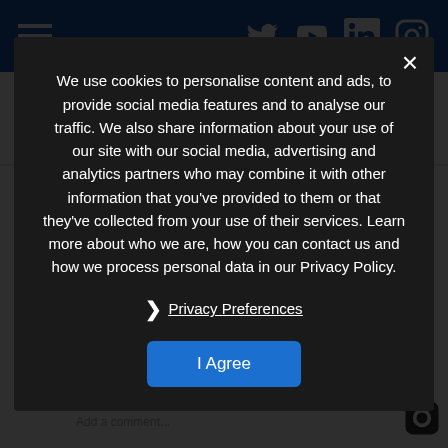Navigation bar with hamburger menu and social icons (Twitter, YouTube, LinkedIn, Instagram)
[Figure (screenshot): Instagram embed showing startups.london logo on pink background]
View more on Instagram
13 likes
startups.london
Do you have a clear business vision? ... Whether it starts with some good old self-consciousness.
#startuptips #startupstory #entrepreneur101 #startupbusiness #startupfounder #foundersday #learning #mindfulness
view all comments
Add a comment...
We use cookies to personalise content and ads, to provide social media features and to analyse our traffic. We also share information about your use of our site with our social media, advertising and analytics partners who may combine it with other information that you've provided to them or that they've collected from your use of their services. Learn more about who we are, how you can contact us and how we process personal data in our Privacy Policy.
Privacy Preferences
I Agree